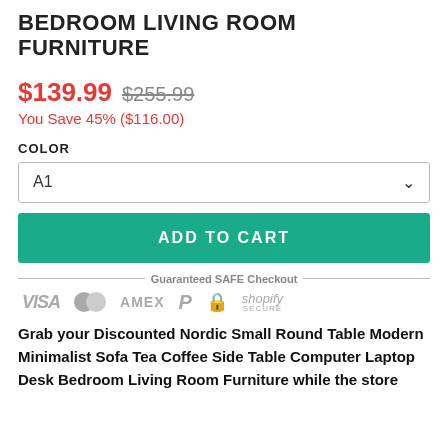BEDROOM LIVING ROOM FURNITURE
$139.99 $255.99
You Save 45% ($116.00)
COLOR
A1
ADD TO CART
[Figure (infographic): Guaranteed SAFE Checkout banner with payment icons: VISA, Mastercard, AMEX, PayPal, lock icon, Shopify Secure]
Grab your Discounted Nordic Small Round Table Modern Minimalist Sofa Tea Coffee Side Table Computer Laptop Desk Bedroom Living Room Furniture while the store